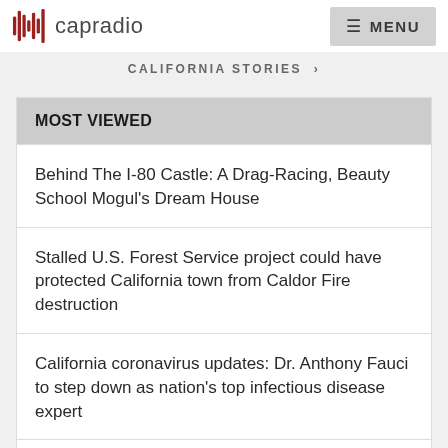capradio  MENU
CALIFORNIA STORIES >
MOST VIEWED
Behind The I-80 Castle: A Drag-Racing, Beauty School Mogul's Dream House
Stalled U.S. Forest Service project could have protected California town from Caldor Fire destruction
California coronavirus updates: Dr. Anthony Fauci to step down as nation's top infectious disease expert
How wildfires are transforming California's most